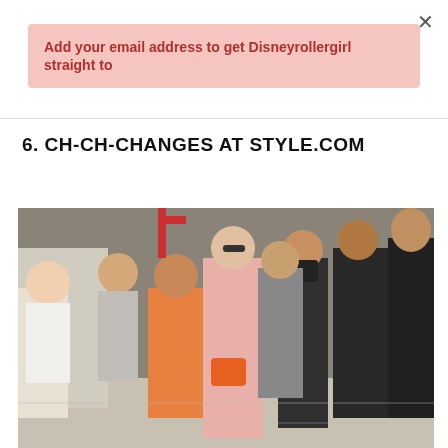×
Add your email address to get Disneyrollergirl straight to
6. CH-CH-CHANGES AT STYLE.COM
[Figure (photo): A woman in a pink patterned outfit with an orange handbag stands surrounded by photographers with cameras at what appears to be a fashion week event outdoors.]